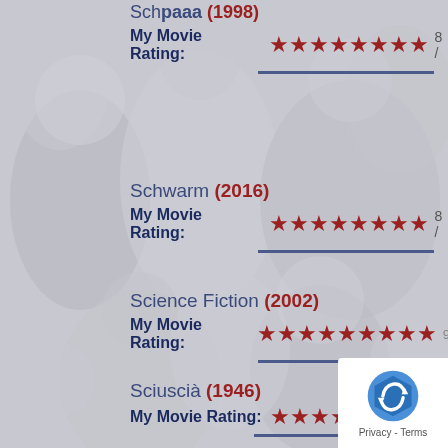Schpaaa (1998) My Movie Rating: 8/
Schwarm (2016) My Movie Rating: 8/
Science Fiction (2002) My Movie Rating: 9/
Sciuscià (1946) My Movie Rating: